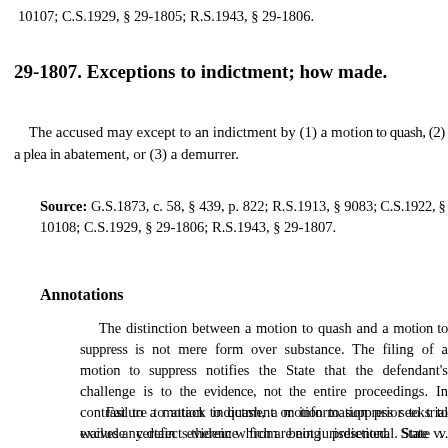10107; C.S.1929, § 29-1805; R.S.1943, § 29-1806.
29-1807. Exceptions to indictment; how made.
The accused may except to an indictment by (1) a motion to quash, (2) a plea in abatement, or (3) a demurrer.
Source: G.S.1873, c. 58, § 439, p. 822; R.S.1913, § 9083; C.S.1922, § 10108; C.S.1929, § 29-1806; R.S.1943, § 29-1807.
Annotations
The distinction between a motion to quash and a motion to suppress is not mere form over substance. The filing of a motion to suppress notifies the State that the defendant's challenge is to evidence, not the entire proceedings. In contrast to a motion to quash, a motion to suppress seeks to exclude certain evidence from being presented. State v. Kanarick, 257 Neb. 358, 598 N.W.2d 430 (1999).
Failure to attack indictment or information prior to trial waives any defects therein which are not jurisdictional. State v. O'Grady, 137 Neb. 824, 291 N.W. 497 (1940).